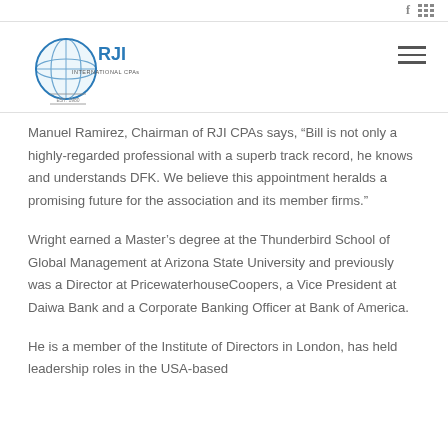f  |||
[Figure (logo): RJI International CPAs logo with globe graphic, blue and grey colors, EST. 1980]
Manuel Ramirez, Chairman of RJI CPAs says, “Bill is not only a highly-regarded professional with a superb track record, he knows and understands DFK. We believe this appointment heralds a promising future for the association and its member firms.”
Wright earned a Master’s degree at the Thunderbird School of Global Management at Arizona State University and previously was a Director at PricewaterhouseCoopers, a Vice President at Daiwa Bank and a Corporate Banking Officer at Bank of America.
He is a member of the Institute of Directors in London, has held leadership roles in the USA-based